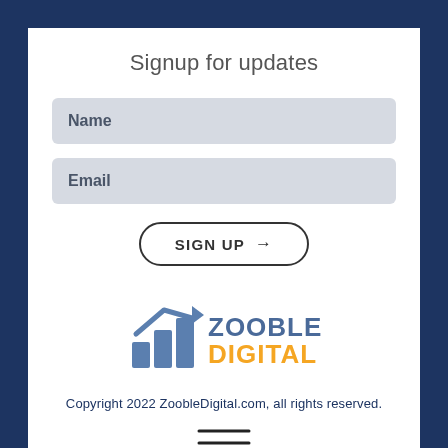Signup for updates
Name
Email
SIGN UP →
[Figure (logo): Zooble Digital logo with bar chart and upward arrow icon, text ZOOBLE in slate blue and DIGITAL in orange]
Copyright 2022 ZoobleDigital.com, all rights reserved.